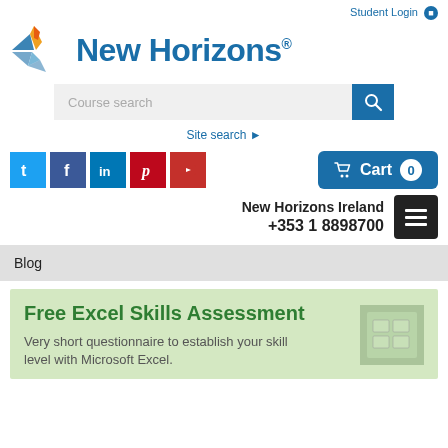Student Login
[Figure (logo): New Horizons logo with stylized wing/arrow icon and text 'New Horizons®' in blue]
Course search
Site search ▶
[Figure (infographic): Social media icons: Twitter (t), Facebook (f), LinkedIn (in), Pinterest (p), YouTube (play button)]
🛒 Cart 0
New Horizons Ireland
+353 1 8898700
Blog
Free Excel Skills Assessment
Very short questionnaire to establish your skill level with Microsoft Excel.